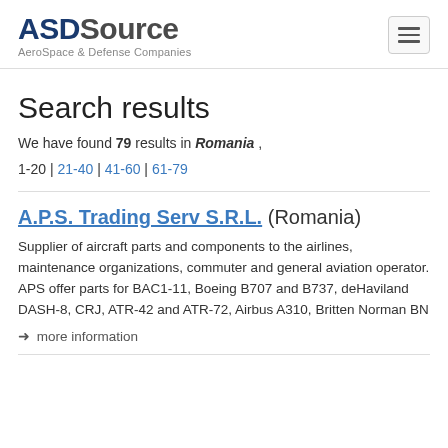ASDSource — AeroSpace & Defense Companies
Search results
We have found 79 results in Romania ,
1-20 | 21-40 | 41-60 | 61-79
A.P.S. Trading Serv S.R.L. (Romania)
Supplier of aircraft parts and components to the airlines, maintenance organizations, commuter and general aviation operator. APS offer parts for BAC1-11, Boeing B707 and B737, deHaviland DASH-8, CRJ, ATR-42 and ATR-72, Airbus A310, Britten Norman BN
➜ more information